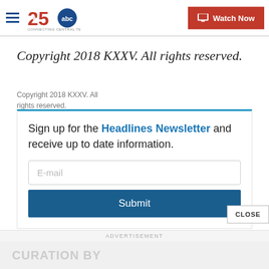KXXV 25 ABC - Connecting Central Texas | Watch Now
Copyright 2018 KXXV. All rights reserved.
Copyright 2018 KXXV. All rights reserved.
Sign up for the Headlines Newsletter and receive up to date information.
E-mail
Submit
CLOSE
ADVERTISEMENT
CURATION BY